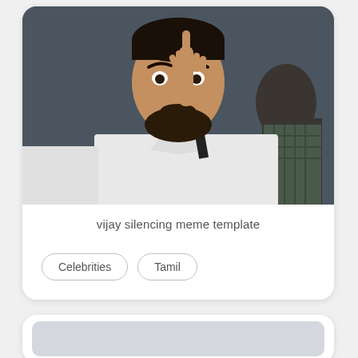[Figure (photo): A man in a white shirt holding his index finger to his lips in a silencing/hushing gesture. Another person visible in background wearing a checkered garment. Photo is cropped to show from chest up.]
vijay silencing meme template
Celebrities
Tamil
[Figure (photo): Partial view of a second card with a gray placeholder image area, mostly cut off at the bottom of the page.]